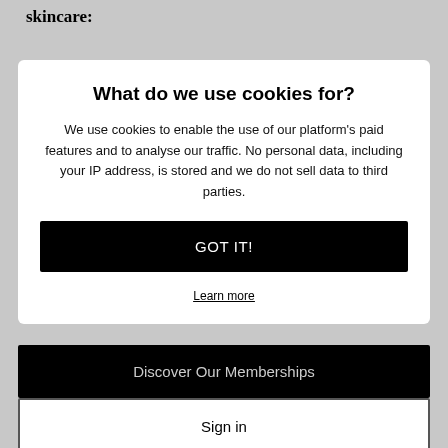skincare:
Charlotte Ferguson, founder of wellness brand Disciple, explains why psychodermatology is a growing field in treating stress-related...
What do we use cookies for?
We use cookies to enable the use of our platform's paid features and to analyse our traffic. No personal data, including your IP address, is stored and we do not sell data to third parties.
GOT IT!
Learn more
Discover Our Memberships
Sign in